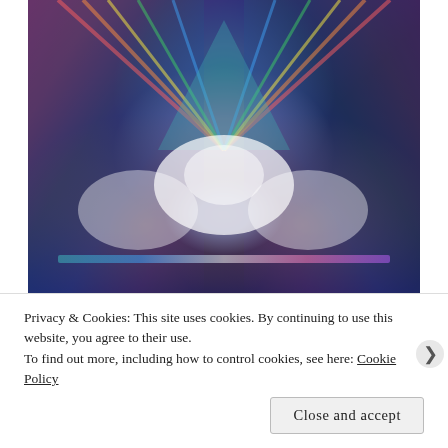[Figure (photo): Two hands facing upward with glowing white light between them, surrounded by colorful rainbow light streaks (red, orange, yellow, green, blue, purple) against a dark navy/purple background. The image is mirrored/symmetrical.]
Privacy & Cookies: This site uses cookies. By continuing to use this website, you agree to their use.
To find out more, including how to control cookies, see here: Cookie Policy
Close and accept